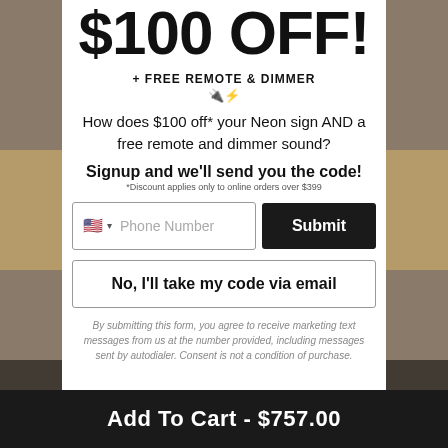$100 OFF!
+ FREE REMOTE & DIMMER
🔌⚡
How does $100 off* your Neon sign AND a free remote and dimmer sound?
Signup and we'll send you the code!
*Discount applies only to online orders over $399
[Figure (screenshot): Phone number input field with US flag and dropdown, placeholder text 'Phone Number', and black Submit button]
No, I'll take my code via email
By submitting this form, you agree to receive marketing text messages from us at the number provided, including messages sent by autodialer. Consent is not a condition of purchase.
Add To Cart - $757.00